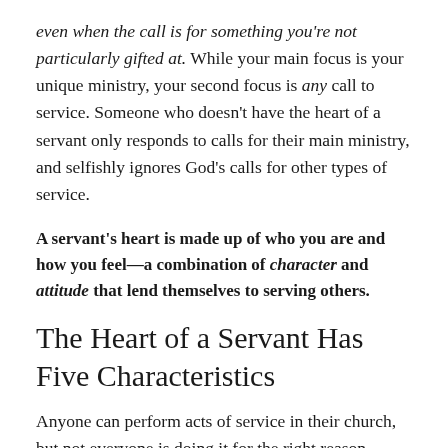even when the call is for something you're not particularly gifted at. While your main focus is your unique ministry, your second focus is any call to service. Someone who doesn't have the heart of a servant only responds to calls for their main ministry, and selfishly ignores God's calls for other types of service.
A servant's heart is made up of who you are and how you feel—a combination of character and attitude that lend themselves to serving others.
The Heart of a Servant Has Five Characteristics
Anyone can perform acts of service in their church, but not everyone is doing it for the right reason—rather than these acts coming from their heart, they